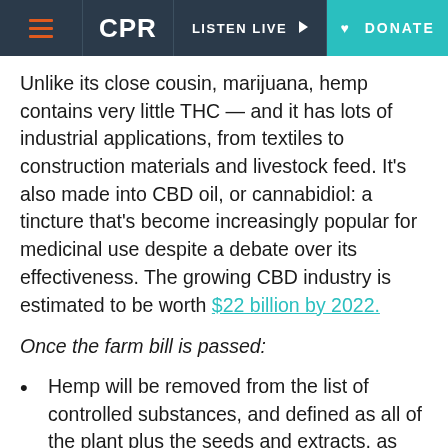CPR | LISTEN LIVE | DONATE
Unlike its close cousin, marijuana, hemp contains very little THC — and it has lots of industrial applications, from textiles to construction materials and livestock feed. It's also made into CBD oil, or cannabidiol: a tincture that's become increasingly popular for medicinal use despite a debate over its effectiveness. The growing CBD industry is estimated to be worth $22 billion by 2022.
Once the farm bill is passed:
Hemp will be removed from the list of controlled substances, and defined as all of the plant plus the seeds and extracts, as long as they contain no more than 0.3 percent THC (or